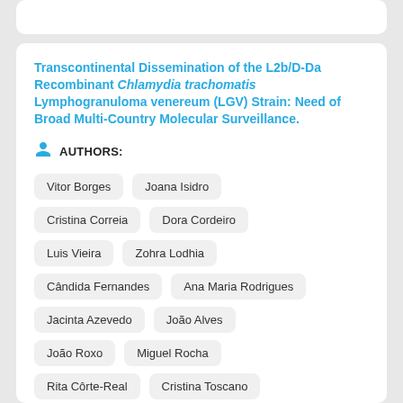Transcontinental Dissemination of the L2b/D-Da Recombinant Chlamydia trachomatis Lymphogranuloma venereum (LGV) Strain: Need of Broad Multi-Country Molecular Surveillance.
AUTHORS:
Vitor Borges
Joana Isidro
Cristina Correia
Dora Cordeiro
Luis Vieira
Zohra Lodhia
Cândida Fernandes
Ana Maria Rodrigues
Jacinta Azevedo
João Alves
João Roxo
Miguel Rocha
Rita Côrte-Real
Cristina Toscano